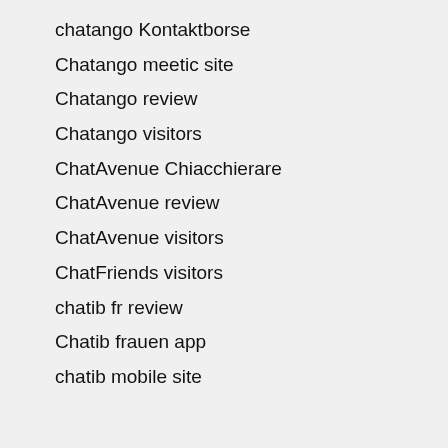chatango Kontaktborse
Chatango meetic site
Chatango review
Chatango visitors
ChatAvenue Chiacchierare
ChatAvenue review
ChatAvenue visitors
ChatFriends visitors
chatib fr review
Chatib frauen app
chatib mobile site